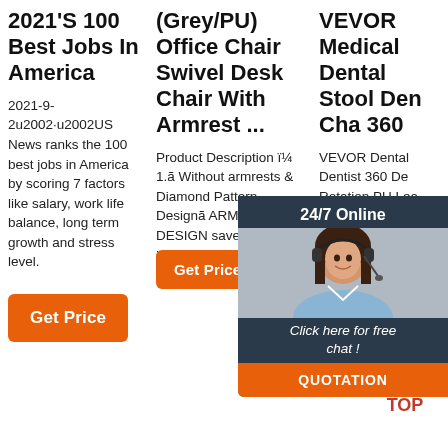2021'S 100 Best Jobs In America
2021-9-2u2002·u2002US News ranks the 100 best jobs in America by scoring 7 factors like salary, work life balance, long term growth and stress level.
Get Price
(Grey/PU) Office Chair Swivel Desk Chair With Armrest ...
Product Description ï¼ 1.ã Without armrests & Diamond Pattern Designã ARMLESS DESIGN saves your indoor space. DIAMOND PATTERN DESIGN...
Get Price
VEVOR Medical Dental Stool Den Cha 360
VEVOR Dental Dentist 360 Degree Rotation PU Leather Assistant Chair Height Adjustable Doctor Chair : Amazon.ca: Home
[Figure (photo): Chat support overlay with woman wearing headset, dark background, 24/7 Online label, Click here for free chat text, and QUOTATION orange button]
[Figure (logo): TOP logo with orange dot triangle pattern above the word TOP in orange on white background]